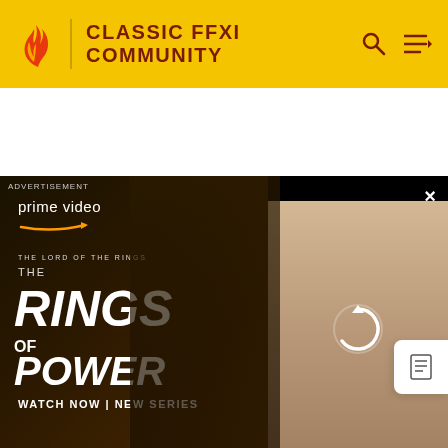CLASSIC FFXI COMMUNITY
[Figure (screenshot): Amazon Prime Video advertisement for The Lord of the Rings: The Rings of Power. Left panel has dark forest background with hooded figure, Prime Video logo with Amazon arrow, show title text 'THE LORD OF THE RINGS THE RINGS OF POWER', and 'WATCH NOW | NEW SERIES'. Right panel shows group of people in light robes with a refresh/loading icon overlay. Top has 'ADVERTISEMENT' label and close X button. Bottom shows white content grid columns.]